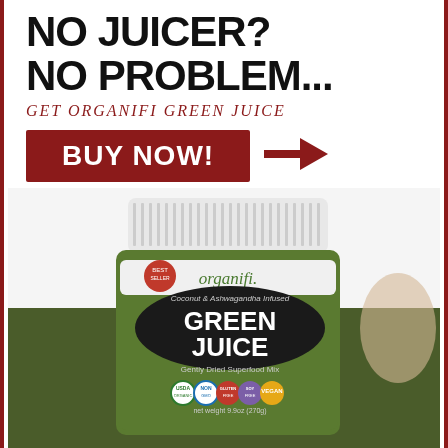NO JUICER?
NO PROBLEM...
GET ORGANIFI GREEN JUICE
BUY NOW!
[Figure (photo): Organifi Green Juice product container - a green and black tub with white lid. Label reads: organifi. Coconut & Ashwagandha Infused GREEN JUICE Gently Dried Superfood Mix. Bottom shows certification badges: USDA Organic, Non GMO, Gluten Free, Soy Free, Vegan.]